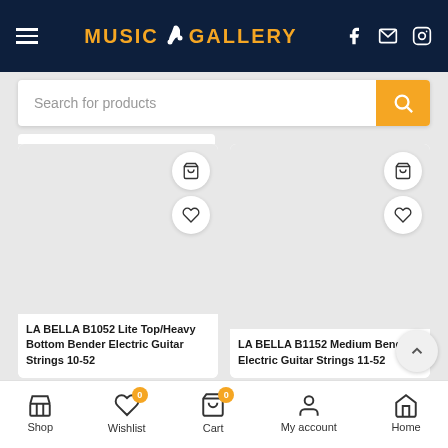[Figure (screenshot): Music Gallery e-commerce website screenshot showing header with logo, search bar, two product cards for LA BELLA guitar strings, and bottom navigation bar.]
Search for products
LA BELLA B1052 Lite Top/Heavy Bottom Bender Electric Guitar Strings 10-52
LA BELLA B1152 Medium Bender Electric Guitar Strings 11-52
Shop  Wishlist 0  Cart 0  My account  Home